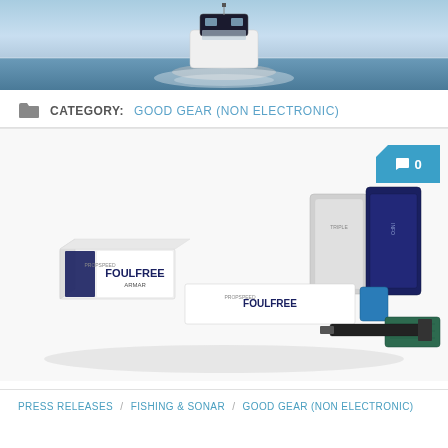[Figure (photo): A white motorboat / sport cruiser photographed head-on on open water with blue sky and horizon in background.]
CATEGORY: GOOD GEAR (NON ELECTRONIC)
[Figure (photo): Product photo showing Propspeed Foulfree anti-fouling kit including box, foil packets, and application accessories on white background.]
PRESS RELEASES / FISHING & SONAR / GOOD GEAR (NON ELECTRONIC)